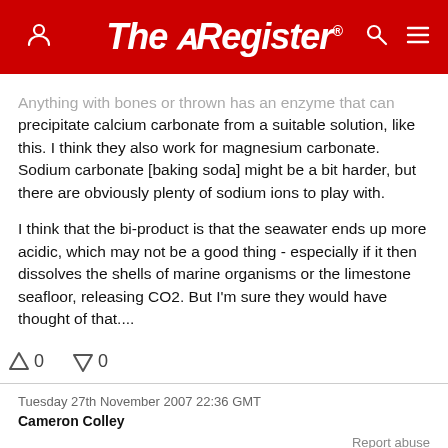The Register
Anything with bones or thrown has an enzyme that can precipitate calcium carbonate from a suitable solution, like this. I think they also work for magnesium carbonate. Sodium carbonate [baking soda] might be a bit harder, but there are obviously plenty of sodium ions to play with.
I think that the bi-product is that the seawater ends up more acidic, which may not be a good thing - especially if it then dissolves the shells of marine organisms or the limestone seafloor, releasing CO2. But I'm sure they would have thought of that....
0  0
Tuesday 27th November 2007 22:36 GMT
Cameron Colley
Report abuse
Hahahahahahaha....